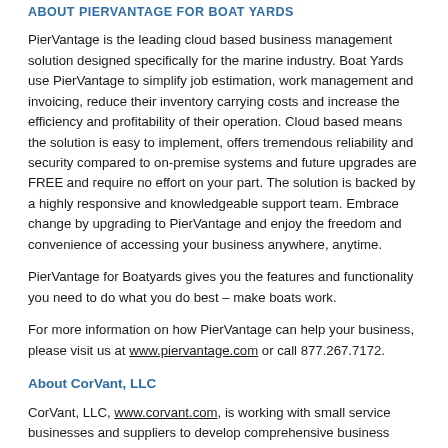ABOUT PIERVANTAGE FOR BOAT YARDS
PierVantage is the leading cloud based business management solution designed specifically for the marine industry. Boat Yards use PierVantage to simplify job estimation, work management and invoicing, reduce their inventory carrying costs and increase the efficiency and profitability of their operation. Cloud based means the solution is easy to implement, offers tremendous reliability and security compared to on-premise systems and future upgrades are FREE and require no effort on your part. The solution is backed by a highly responsive and knowledgeable support team. Embrace change by upgrading to PierVantage and enjoy the freedom and convenience of accessing your business anywhere, anytime.
PierVantage for Boatyards gives you the features and functionality you need to do what you do best – make boats work.
For more information on how PierVantage can help your business, please visit us at www.piervantage.com or call 877.267.7172.
About CorVant, LLC
CorVant, LLC, www.corvant.com, is working with small service businesses and suppliers to develop comprehensive business